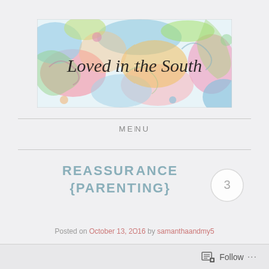[Figure (illustration): Colorful floral watercolor banner with text 'Loved in the South' in cursive black font overlaid on a bright pink, blue, green, and orange floral pattern]
MENU
REASSURANCE {PARENTING}
Posted on October 13, 2016 by samanthaandmy5
Follow ...